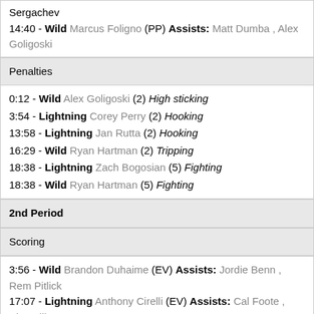Sergachev
14:40 - Wild Marcus Foligno (PP) Assists: Matt Dumba , Alex Goligoski
Penalties
0:12 - Wild Alex Goligoski (2) High sticking
3:54 - Lightning Corey Perry (2) Hooking
13:58 - Lightning Jan Rutta (2) Hooking
16:29 - Wild Ryan Hartman (2) Tripping
18:38 - Lightning Zach Bogosian (5) Fighting
18:38 - Wild Ryan Hartman (5) Fighting
2nd Period
Scoring
3:56 - Wild Brandon Duhaime (EV) Assists: Jordie Benn , Rem Pitlick
17:07 - Lightning Anthony Cirelli (EV) Assists: Cal Foote , Alex Killorn
Penalties
7:39 - Lightning Anthony Cirelli (2) High sticking
13:01 - Wild Marcus Foligno (2) High sticking